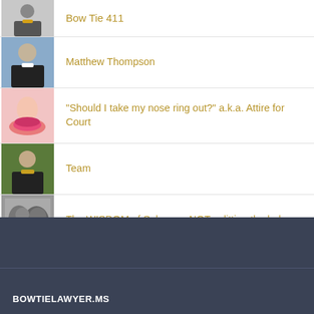Bow Tie 411
Matthew Thompson
"Should I take my nose ring out?" a.k.a. Attire for Court
Team
The WISDOM of Solomon; NOT splitting the baby.
BOWTIELAWYER.MS